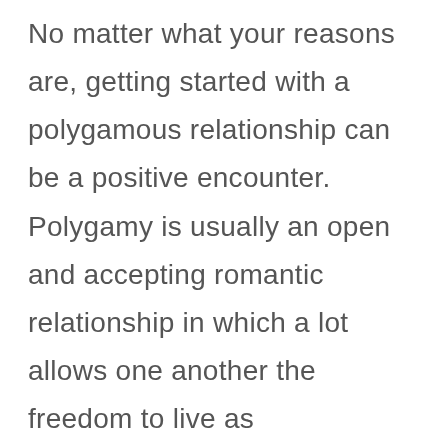No matter what your reasons are, getting started with a polygamous relationship can be a positive encounter. Polygamy is usually an open and accepting romantic relationship in which a lot allows one another the freedom to live as independently as possible with no concern of having their children affected by their lifestyle choices. Although this type of life-style is certainly not for everyone, it can offer many advantages more than living in a monogamous romance. Although polygamous relationships usually are not as stable and lasting as classical marriages, they are doing offer a lot of unique benefits for those who choose it. Should you be considering stepping into one, then you should